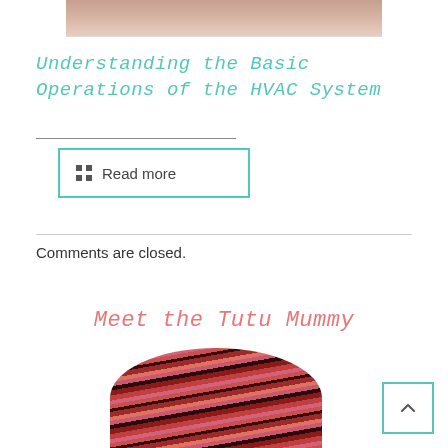[Figure (photo): Partial view of a person holding a white container, cropped at the top of the page]
Understanding the Basic Operations of the HVAC System
Read more
Comments are closed.
Meet the Tutu Mummy
[Figure (photo): Circular cropped photo showing a person with red and dark highlighted hair]